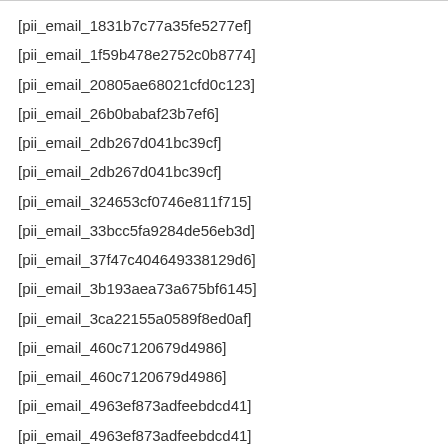[pii_email_1831b7c77a35fe5277ef]
[pii_email_1f59b478e2752c0b8774]
[pii_email_20805ae68021cfd0c123]
[pii_email_26b0babaf23b7ef6]
[pii_email_2db267d041bc39cf]
[pii_email_2db267d041bc39cf]
[pii_email_324653cf0746e811f715]
[pii_email_33bcc5fa9284de56eb3d]
[pii_email_37f47c404649338129d6]
[pii_email_3b193aea73a675bf6145]
[pii_email_3ca22155a0589f8ed0af]
[pii_email_460c7120679d4986]
[pii_email_460c7120679d4986]
[pii_email_4963ef873adfeebdcd41]
[pii_email_4963ef873adfeebdcd41]
[pii_email_4971789cdf81a9c045fa]
[pii_email_4dd09cddea0cd66b5592]